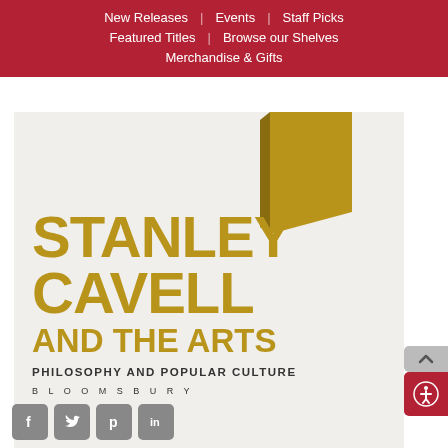New Releases | Events | Staff Picks | Featured Titles | Browse our Shelves | Merchandise & Gifts
[Figure (illustration): Book cover for 'Stanley Cavell and the Arts: Philosophy and Popular Culture' published by Bloomsbury. Light gray/beige background with a gold/amber geometric shape in upper right. Large bold golden text reading STANLEY CAVELL AND THE ARTS, with subtitle PHILOSOPHY AND POPULAR CULTURE and publisher BLOOMSBURY.]
[Figure (other): Social media share icons row: Facebook, Twitter, Pinterest, LinkedIn]